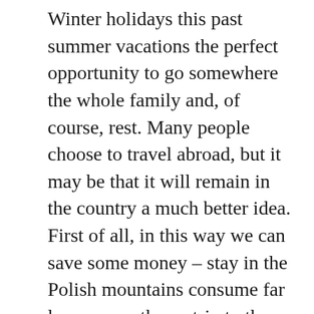Winter holidays this past summer vacations the perfect opportunity to go somewhere the whole family and, of course, rest. Many people choose to travel abroad, but it may be that it will remain in the country a much better idea. First of all, in this way we can save some money – stay in the Polish mountains consume far less money than a trip to the Alps. It should also know that the current tourism infrastructure in many Polish cities in no way inferior to foreign hotels. So if you are planning a family trip, we should certainly consider any of the interesting places Polish.